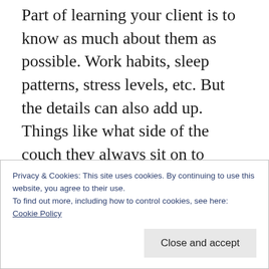Part of learning your client is to know as much about them as possible. Work habits, sleep patterns, stress levels, etc. But the details can also add up. Things like what side of the couch they always sit on to watch TV or movies, how high the desk is in relation to the chair they use at work every day, how many peas were on their plate at supper that got eaten, if they are getting drunk and dancing naked on the tables at the club or keeping it to one or two drinks, how much time was spent wake boarding at the
Privacy & Cookies: This site uses cookies. By continuing to use this website, you agree to their use.
To find out more, including how to control cookies, see here:
Cookie Policy
Close and accept